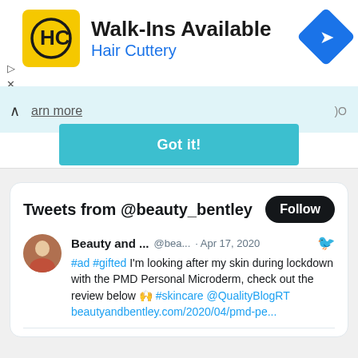[Figure (screenshot): Hair Cuttery advertisement banner with logo, 'Walk-Ins Available' headline, navigation icon, 'arn more' link bar, and 'Got it!' teal button]
Tweets from @beauty_bentley
Follow
Beauty and ... @bea... · Apr 17, 2020
#ad #gifted I'm looking after my skin during lockdown with the PMD Personal Microderm, check out the review below 🙌 #skincare @QualityBlogRT beautyandbentley.com/2020/04/pmd-pe...